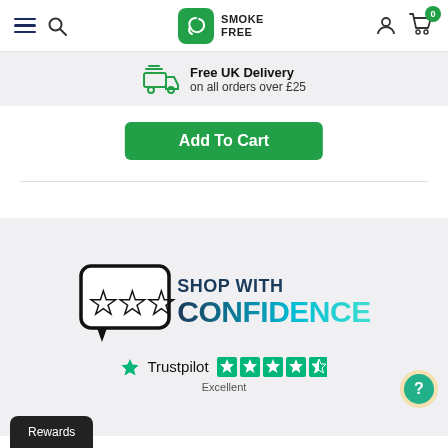Smoke Free - navigation header with hamburger menu, search, logo, account, and cart icons
Free UK Delivery on all orders over £25
Add To Cart
[Figure (logo): Shop With Confidence banner with three stars in a speech bubble and bold teal/cyan text reading SHOP WITH CONFIDENCE]
[Figure (other): Trustpilot rating showing 4.5 stars labeled Excellent]
Rewards